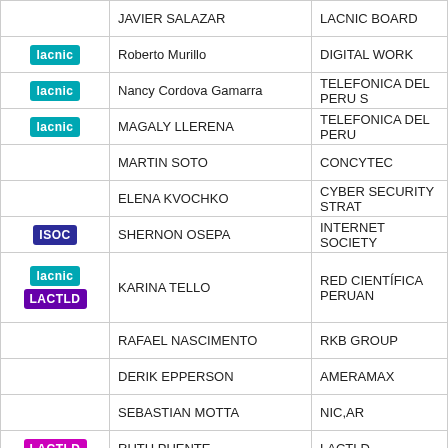| Logo | Name | Organization |
| --- | --- | --- |
|  | JAVIER SALAZAR | LACNIC BOARD |
| lacnic | Roberto Murillo | DIGITAL WORK |
| lacnic | Nancy Cordova Gamarra | TELEFONICA DEL PERU S |
| lacnic | MAGALY LLERENA | TELEFONICA DEL PERU |
|  | MARTIN SOTO | CONCYTEC |
|  | ELENA KVOCHKO | CYBER SECURITY STRAT |
| ISOC | SHERNON OSEPA | INTERNET SOCIETY |
| lacnic + LACTLD | KARINA TELLO | RED CIENTÍFICA PERUAN |
|  | RAFAEL NASCIMENTO | RKB GROUP |
|  | DERIK EPPERSON | AMERAMAX |
|  | SEBASTIAN MOTTA | NIC,AR |
| LACTLD | RUTH PUENTE | LACTLD |
| NIC MX + LACTLD | MANUEL HACES-AVIÑA | NIC MÉXICO |